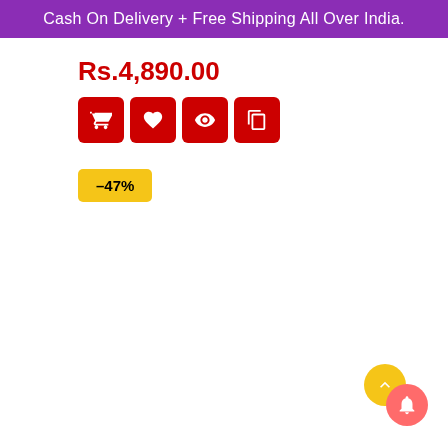Cash On Delivery + Free Shipping All Over India.
Rs.4,890.00
[Figure (infographic): Four red icon buttons: shopping cart, heart/wishlist, eye/preview, and copy/clipboard icons]
–47%